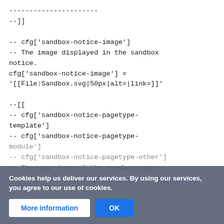----------------------
--]]

-- cfg['sandbox-notice-image']
-- The image displayed in the sandbox notice.
cfg['sandbox-notice-image'] =
'[[File:Sandbox.svg|50px|alt=|link=]]'

--[[
-- cfg['sandbox-notice-pagetype-template']
-- cfg['sandbox-notice-pagetype-module']
-- cfg['sandbox-notice-pagetype-other']
-- The page type of the sandbox page. The message depends
Cookies help us deliver our services. By using our services, you agree to our use of cookies.
More information    OK